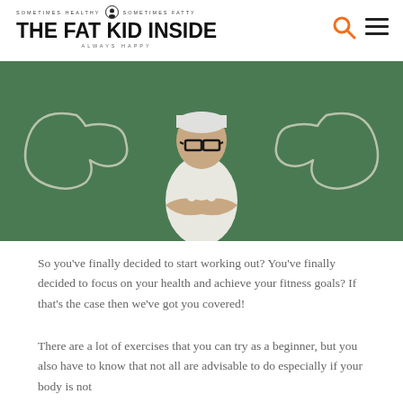SOMETIMES HEALTHY · SOMETIMES FATTY · THE FAT KID INSIDE · ALWAYS HAPPY
[Figure (photo): A slim man wearing glasses and a white tank top, arms crossed, standing in front of a green chalkboard with large muscular arms drawn in chalk on either side of him.]
So you've finally decided to start working out? You've finally decided to focus on your health and achieve your fitness goals? If that's the case then we've got you covered!
There are a lot of exercises that you can try as a beginner, but you also have to know that not all are advisable to do especially if your body is not